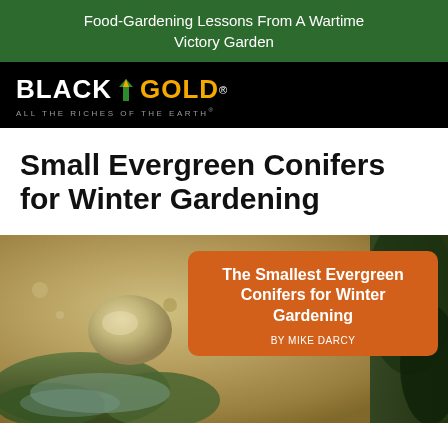Food-Gardening Lessons From A Wartime Victory Garden
[Figure (logo): Black Gold logo with leaf icon and tagline 'ALL THE RICHES OF THE EARTH' on black background]
Small Evergreen Conifers for Winter Gardening
[Figure (photo): Garden scene with gravel, a large boulder, low blue-green spreading conifer plants, and dark green conifers on the right. Overlaid orange rounded rectangle box with text 'The Smallest Evergreen Conifers for Winter Gardening BY MIKE DARCY']